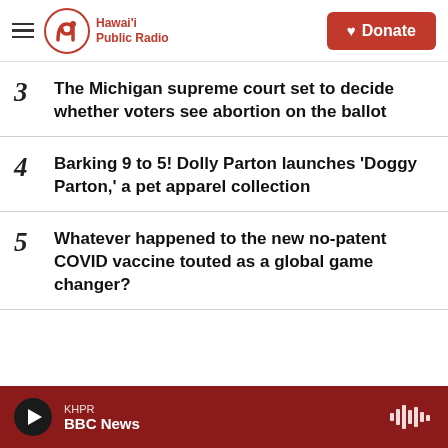Hawai'i Public Radio — Donate
3  The Michigan supreme court set to decide whether voters see abortion on the ballot
4  Barking 9 to 5! Dolly Parton launches 'Doggy Parton,' a pet apparel collection
5  Whatever happened to the new no-patent COVID vaccine touted as a global game changer?
KHPR  BBC News